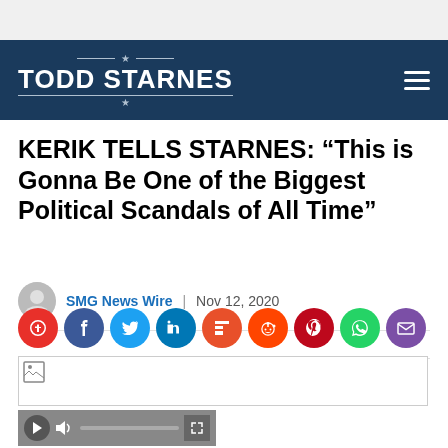TODD STARNES
KERIK TELLS STARNES: “This is Gonna Be One of the Biggest Political Scandals of All Time”
SMG News Wire | Nov 12, 2020
[Figure (other): Social share buttons row: Parler (red), Facebook (blue), Twitter (light blue), LinkedIn (dark blue), Flipboard (orange-red), Reddit (orange), Pinterest (dark red), WhatsApp (green), Email (purple)]
[Figure (photo): Broken/loading image placeholder with small image icon in top-left corner]
[Figure (other): Video player controls bar: play button, volume icon, progress bar, expand button]